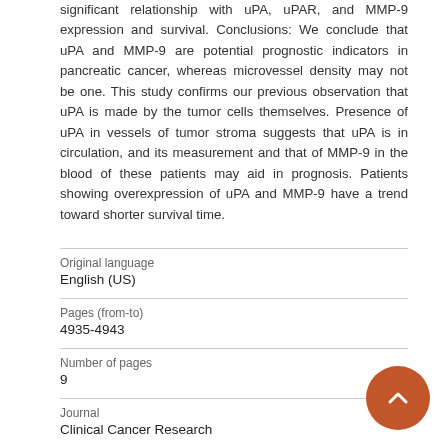significant relationship with uPA, uPAR, and MMP-9 expression and survival. Conclusions: We conclude that uPA and MMP-9 are potential prognostic indicators in pancreatic cancer, whereas microvessel density may not be one. This study confirms our previous observation that uPA is made by the tumor cells themselves. Presence of uPA in vessels of tumor stroma suggests that uPA is in circulation, and its measurement and that of MMP-9 in the blood of these patients may aid in prognosis. Patients showing overexpression of uPA and MMP-9 have a trend toward shorter survival time.
| Field | Value |
| --- | --- |
| Original language | English (US) |
| Pages (from-to) | 4935-4943 |
| Number of pages | 9 |
| Journal | Clinical Cancer Research |